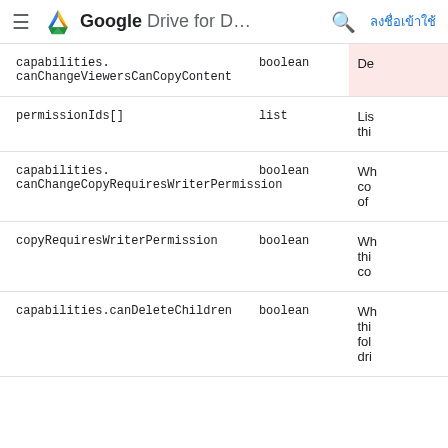Google Drive for D... ลงชื่อเข้าใช้
| Field | Type | Description |
| --- | --- | --- |
| capabilities.canChangeViewersCanCopyContent | boolean | De… |
| permissionIds[] | list | Lis… thi… |
| capabilities.canChangeCopyRequiresWriterPermission | boolean | Wh… co… of |
| copyRequiresWriterPermission | boolean | Wh… thi… co |
| capabilities.canDeleteChildren | boolean | Wh… thi… fol… dri |